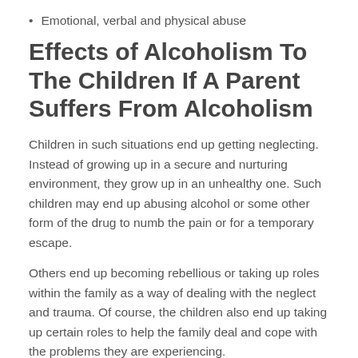Emotional, verbal and physical abuse
Effects of Alcoholism To The Children If A Parent Suffers From Alcoholism
Children in such situations end up getting neglecting. Instead of growing up in a secure and nurturing environment, they grow up in an unhealthy one. Such children may end up abusing alcohol or some other form of the drug to numb the pain or for a temporary escape.
Others end up becoming rebellious or taking up roles within the family as a way of dealing with the neglect and trauma. Of course, the children also end up taking up certain roles to help the family deal and cope with the problems they are experiencing.
In essence, children that grow up in an environment